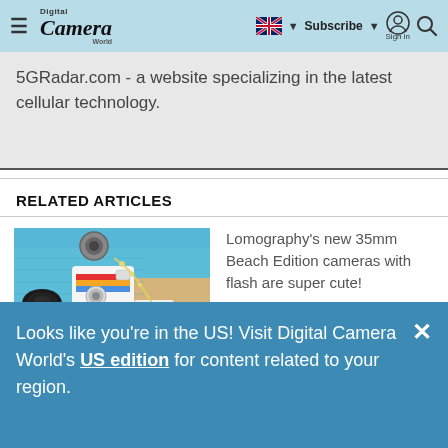Digital Camera World — navigation header with hamburger menu, logo, flag/language selector, Subscribe, Sign in, and Search
5GRadar.com - a website specializing in the latest cellular technology.
RELATED ARTICLES
[Figure (photo): Overhead photo of Lomography beach cameras, sunglasses, and shells on a blue towel]
Lomography's new 35mm Beach Edition cameras with flash are super cute!
Looks like you're in the US! Visit Digital Camera World's US edition for content related to your region.